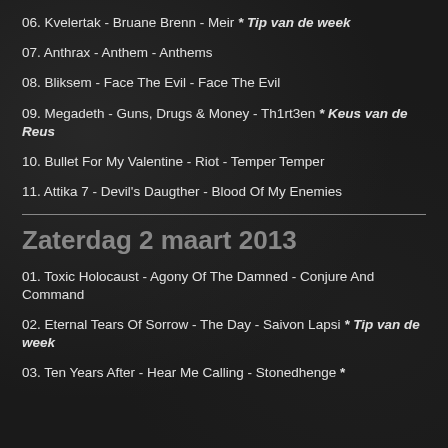06. Kvelertak - Bruane Brenn - Meir * Tip van de week
07. Anthrax - Anthem - Anthems
08. Bliksem - Face The Evil - Face The Evil
09. Megadeth - Guns, Drugs & Money - Th1rt3en * Keus van de Reus
10. Bullet For My Valentine - Riot - Temper Temper
11. Attika 7 - Devil's Daugther - Blood Of My Enemies
Zaterdag 2 maart 2013
01. Toxic Holocaust - Agony Of The Damned - Conjure And Command
02. Eternal Tears Of Sorrow - The Day - Saivon Lapsi * Tip van de week
03. Ten Years After - Hear Me Calling - Stonedhenge *